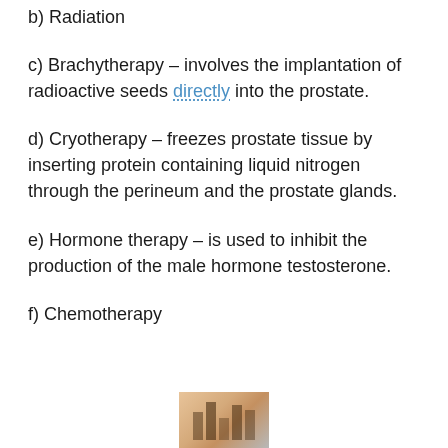b) Radiation
c) Brachytherapy – involves the implantation of radioactive seeds directly into the prostate.
d) Cryotherapy – freezes prostate tissue by inserting protein containing liquid nitrogen through the perineum and the prostate glands.
e) Hormone therapy – is used to inhibit the production of the male hormone testosterone.
f) Chemotherapy
[Figure (photo): Partial photo visible at bottom of page, appears to show skin or tissue texture in orange/tan tones with vertical striped elements]